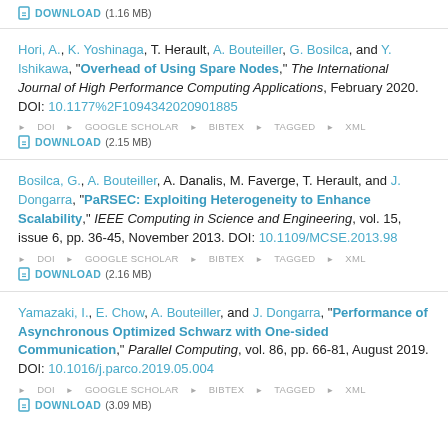DOWNLOAD (1.16 MB)
Hori, A., K. Yoshinaga, T. Herault, A. Bouteiller, G. Bosilca, and Y. Ishikawa, "Overhead of Using Spare Nodes," The International Journal of High Performance Computing Applications, February 2020. DOI: 10.1177%2F1094342020901885
Bosilca, G., A. Bouteiller, A. Danalis, M. Faverge, T. Herault, and J. Dongarra, "PaRSEC: Exploiting Heterogeneity to Enhance Scalability," IEEE Computing in Science and Engineering, vol. 15, issue 6, pp. 36-45, November 2013. DOI: 10.1109/MCSE.2013.98
Yamazaki, I., E. Chow, A. Bouteiller, and J. Dongarra, "Performance of Asynchronous Optimized Schwarz with One-sided Communication," Parallel Computing, vol. 86, pp. 66-81, August 2019. DOI: 10.1016/j.parco.2019.05.004